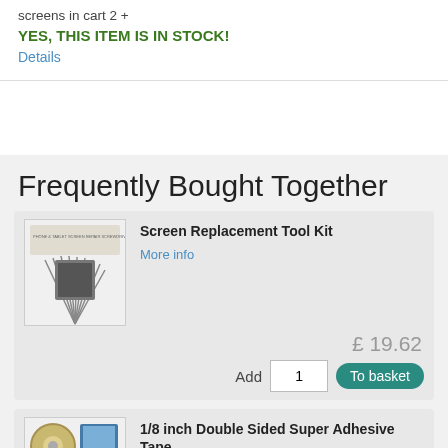screens in cart 2 +
YES, THIS ITEM IS IN STOCK!
Details
Frequently Bought Together
Screen Replacement Tool Kit
More info
£ 19.62
Add  1   To basket
1/8 inch Double Sided Super Adhesive Tape
More info
£ 9.38
Add  1   To basket